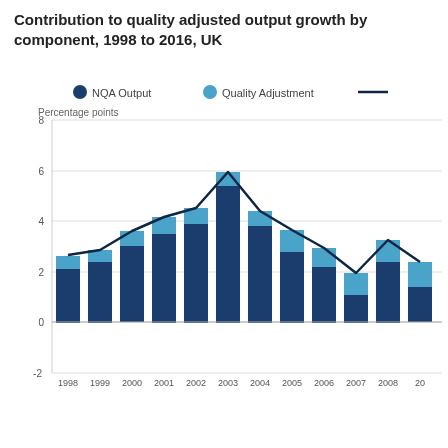Contribution to quality adjusted output growth by component, 1998 to 2016, UK
[Figure (stacked-bar-chart): Contribution to quality adjusted output growth by component, 1998 to 2016, UK]